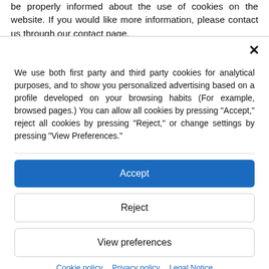be properly informed about the use of cookies on the website. If you would like more information, please contact us through our contact page.
[Figure (screenshot): Cookie consent modal dialog with close (×) button, descriptive text, Accept button (blue), Reject button, View preferences button, and footer links.]
We use both first party and third party cookies for analytical purposes, and to show you personalized advertising based on a profile developed on your browsing habits (For example, browsed pages.) You can allow all cookies by pressing "Accept," reject all cookies by pressing "Reject," or change settings by pressing "View Preferences."
Accept
Reject
View preferences
Cookie policy   Privacy policy   Legal Notice